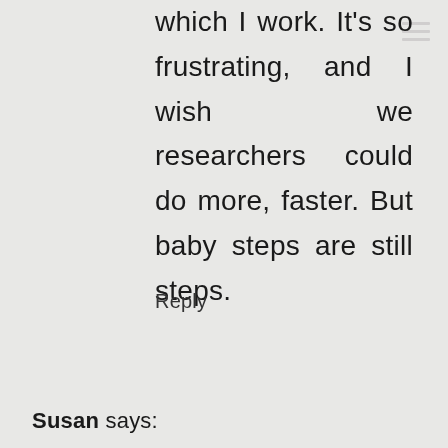which I work. It's so frustrating, and I wish we researchers could do more, faster. But baby steps are still steps.
Reply
Susan says: